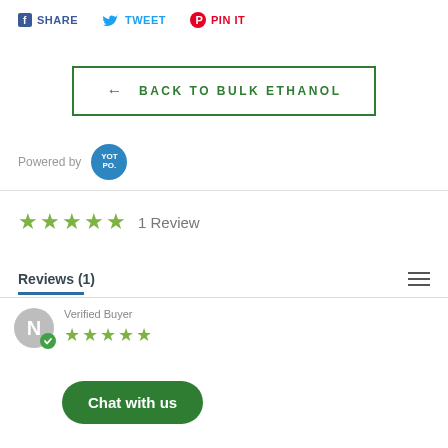SHARE   TWEET   PIN IT
← BACK TO BULK ETHANOL
Powered by YOTPO
★★★★★ 1 Review
Reviews (1)
Verified Buyer
[Figure (other): Chat with us button overlay]
N (reviewer avatar with verified badge and star rating)